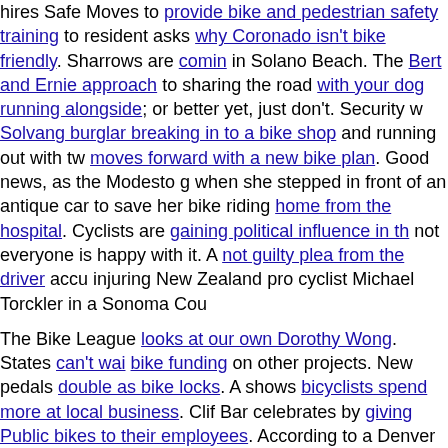hires Safe Moves to provide bike and pedestrian safety training to resident asks why Coronado isn't bike friendly. Sharrows are coming in Solano Beach. The Bert and Ernie approach to sharing the road with your dog running alongside; or better yet, just don't. Security w Solvang burglar breaking in to a bike shop and running out with tw moves forward with a new bike plan. Good news, as the Modesto g when she stepped in front of an antique car to save her bike riding home from the hospital. Cyclists are gaining political influence in th not everyone is happy with it. A not guilty plea from the driver accu injuring New Zealand pro cyclist Michael Torckler in a Sonoma Cou The Bike League looks at our own Dorothy Wong. States can't wai bike funding on other projects. New pedals double as bike locks. A shows bicyclists spend more at local business. Clif Bar celebrates by giving Public bikes to their employees. According to a Denver pa bikes rule, or they're ruining cycling for the rest of us. A micro brew town converts its parking lot into secure bike parking. Survivors of Colorado fires say their lives would be better if they could just get m bikes. Aspen CO cyclist can now expect to get a warning instead o Dakota's Supreme Court rules a cyclist can be convicted of drunk k Republican candidates in Madison WI unite to oppose a local bike riding a bike in Chicago is safer than riding in the suburbs. A Mich